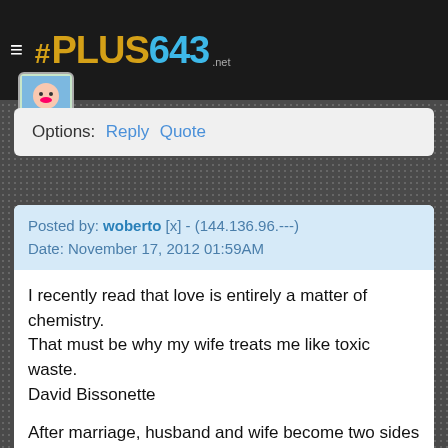# PLUS643 .net
Options:  Reply  Quote
Posted by: woberto [x] - (144.136.96.---)
Date: November 17, 2012 01:59AM
I recently read that love is entirely a matter of chemistry.
That must be why my wife treats me like toxic waste.
David Bissonette
After marriage, husband and wife become two sides of a coin;
they just can't face each other, but still they stay together.
Hemant Joshi
By all means marry. If you get a good wife, you'll be